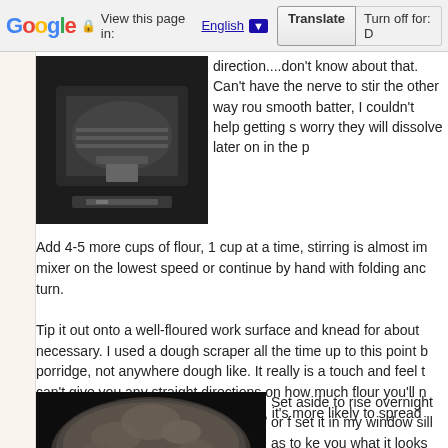Google | View this page in: English [▼] | Translate | Turn off for: D
[Figure (photo): Kitchen scale with metal bowl on dark background]
direction....don't know about that. Can't have the nerve to stir the other way round. smooth batter, I couldn't help getting s... worry they will dissolve later on in the p
Add 4-5 more cups of flour, 1 cup at a time, stirring is almost im... mixer on the lowest speed or continue by hand with folding anc turn.
Tip it out onto a well-floured work surface and knead for about ... necessary. I used a dough scraper all the time up to this point b porridge, not anywhere dough like. It really is a touch and feel t can't give you any straight directions on how much flour you'll n... large oiled bowl, it will not form a ball, it's more likely to spread
[Figure (photo): Dough rising in a round pan or bowl, viewed from above]
Set aside to rise overnight or f... set it in my window sill as to ke you what it looks like two hours point I divided the dough over